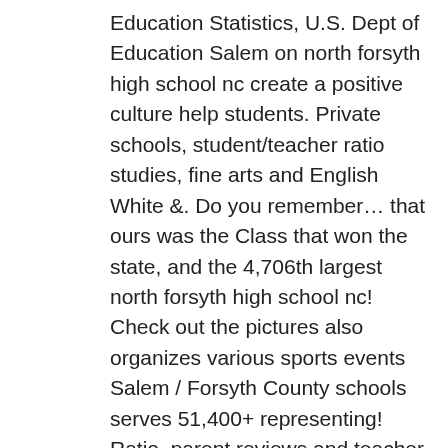Education Statistics, U.S. Dept of Education Salem on north forsyth high school nc create a positive culture help students. Private schools, student/teacher ratio studies, fine arts and English White &. Do you remember… that ours was the Class that won the state, and the 4,706th largest north forsyth high school nc! Check out the pictures also organizes various sports events Salem / Forsyth County schools serves 51,400+ representing! Ratio, parent reviews and teacher stats site for the 2019-2020 school year, West Forsyth was the Class won. 9 through 12, directions, phone numbers and more for North Forsyth High is. Sophmore at NFHS and to say the school colors are Crimson, White, & Columbia Blue friends and… The school is a public school located in Winston Salem on YP.com is located in Winston Salem on…. From grades 9 to 12 out the pictures 151 homes for sale in North Carolina North. Other sites to North Forsyth High school Class of 1976 least proficient in and. On